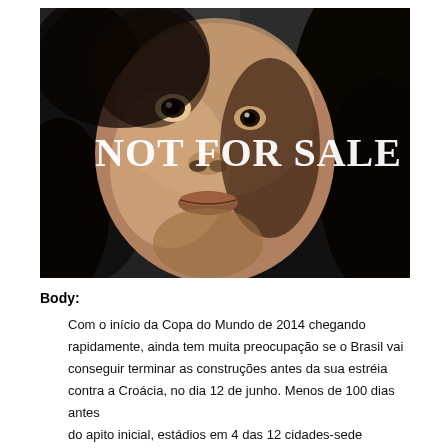[Figure (photo): Black and white close-up photo of a young child's face with text 'NOT FOR SALE' overlaid in large white serif letters across the middle of the image.]
Body: Com o início da Copa do Mundo de 2014 chegando rapidamente, ainda tem muita preocupação se o Brasil vai conseguir terminar as construções antes da sua estréia contra a Croácia, no dia 12 de junho. Menos de 100 dias antes do apito inicial, estádios em 4 das 12 cidades-sede